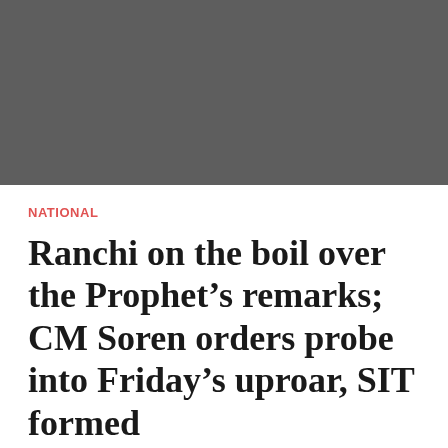[Figure (photo): Dark grey/charcoal image placeholder at the top of the article page]
NATIONAL
Ranchi on the boil over the Prophet’s remarks; CM Soren orders probe into Friday’s uproar, SIT formed